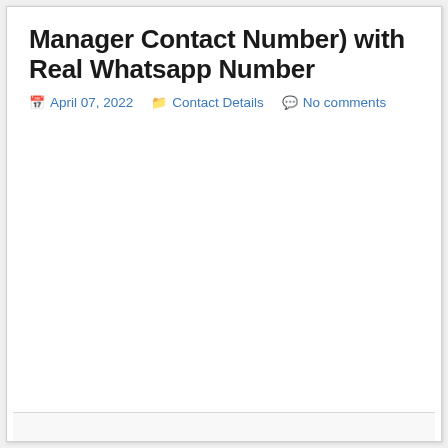Manager Contact Number) with Real Whatsapp Number
April 07, 2022   Contact Details   No comments